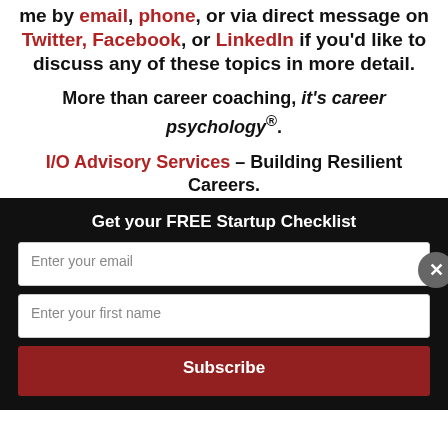me by email, phone, or via direct message on Twitter, Facebook, or LinkedIn if you'd like to discuss any of these topics in more detail.
More than career coaching, it's career psychology®.
I/O Advisory Services – Building Resilient Careers.
Get your FREE Startup Checklist
Enter your email
Enter your first name
Subscribe